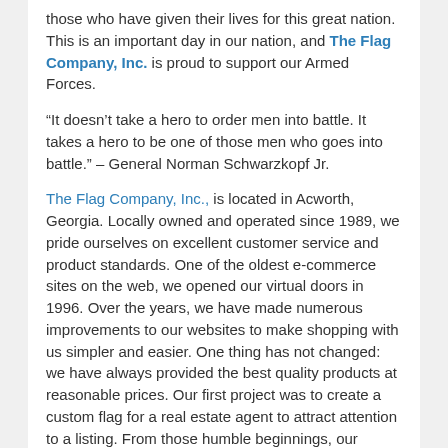those who have given their lives for this great nation. This is an important day in our nation, and The Flag Company, Inc. is proud to support our Armed Forces.
“It doesn’t take a hero to order men into battle. It takes a hero to be one of those men who goes into battle.” – General Norman Schwarzkopf Jr.
The Flag Company, Inc., is located in Acworth, Georgia. Locally owned and operated since 1989, we pride ourselves on excellent customer service and product standards. One of the oldest e-commerce sites on the web, we opened our virtual doors in 1996. Over the years, we have made numerous improvements to our websites to make shopping with us simpler and easier. One thing has not changed: we have always provided the best quality products at reasonable prices. Our first project was to create a custom flag for a real estate agent to attract attention to a listing. From those humble beginnings, our business grew immensely. Today, The Flag Company, Inc. runs on five major divisions: Flag Department, Flagpole Department, Flagpole Lighting Department, Art & Graphics Department, and Warehouse and Shipping Department
For more information on The Flag Company, Inc. or their products, please visit https://www.flagco.com/ or call 800-